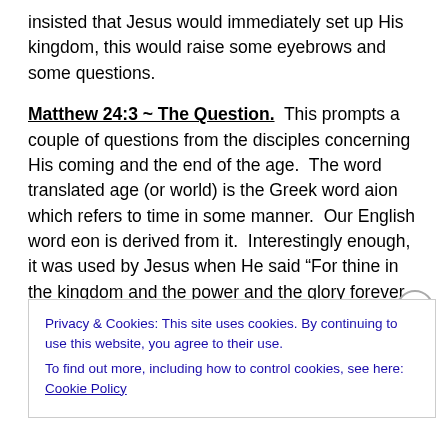insisted that Jesus would immediately set up His kingdom, this would raise some eyebrows and some questions.
Matthew 24:3 ~ The Question.  This prompts a couple of questions from the disciples concerning His coming and the end of the age.  The word translated age (or world) is the Greek word aion which refers to time in some manner.  Our English word eon is derived from it.  Interestingly enough, it was used by Jesus when He said “For thine in the kingdom and the power and the glory forever.  Amen.”  We have translated aion to mean forever in that
Privacy & Cookies: This site uses cookies. By continuing to use this website, you agree to their use.
To find out more, including how to control cookies, see here: Cookie Policy